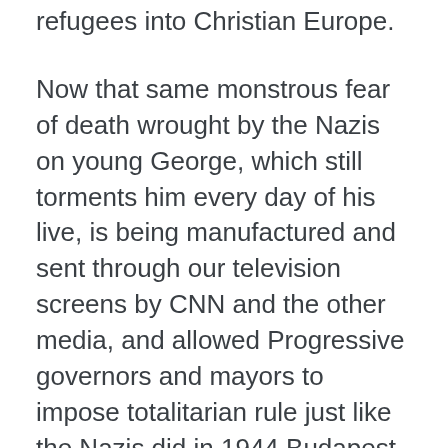refugees into Christian Europe.
Now that same monstrous fear of death wrought by the Nazis on young George, which still torments him every day of his live, is being manufactured and sent through our television screens by CNN and the other media, and allowed Progressive governors and mayors to impose totalitarian rule just like the Nazis did in 1944 Budapest.
One wonders if Barack has moments when he wishes he could go back to being an idealistic community organizer,